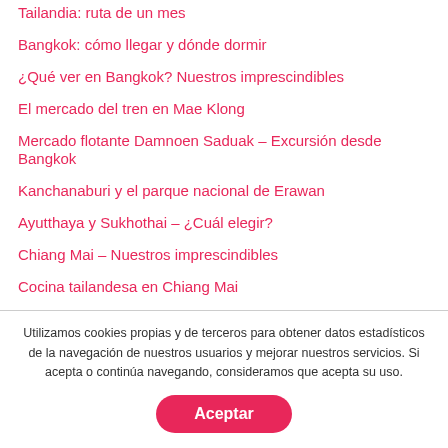Tailandia: ruta de un mes
Bangkok: cómo llegar y dónde dormir
¿Qué ver en Bangkok? Nuestros imprescindibles
El mercado del tren en Mae Klong
Mercado flotante Damnoen Saduak – Excursión desde Bangkok
Kanchanaburi y el parque nacional de Erawan
Ayutthaya y Sukhothai – ¿Cuál elegir?
Chiang Mai – Nuestros imprescindibles
Cocina tailandesa en Chiang Mai
Chiang Rai y sus alrededores
Utilizamos cookies propias y de terceros para obtener datos estadísticos de la navegación de nuestros usuarios y mejorar nuestros servicios. Si acepta o continúa navegando, consideramos que acepta su uso.
Aceptar